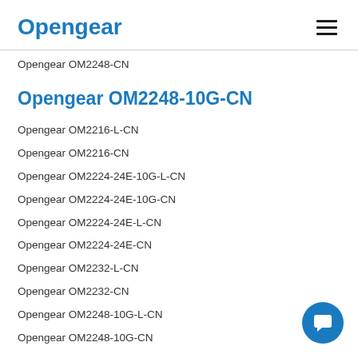Opengear
Opengear OM2248-CN
Opengear OM2248-10G-CN
Opengear OM2216-L-CN
Opengear OM2216-CN
Opengear OM2224-24E-10G-L-CN
Opengear OM2224-24E-10G-CN
Opengear OM2224-24E-L-CN
Opengear OM2224-24E-CN
Opengear OM2232-L-CN
Opengear OM2232-CN
Opengear OM2248-10G-L-CN
Opengear OM2248-10G-CN